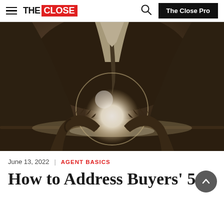THE CLOSE | The Close Pro
[Figure (photo): Sepia-toned photo of a man in a dark suit holding a glowing crystal ball on a table, photographed from the chest down with dramatic low-key lighting.]
June 13, 2022  |  AGENT BASICS
How to Address Buyers' 5